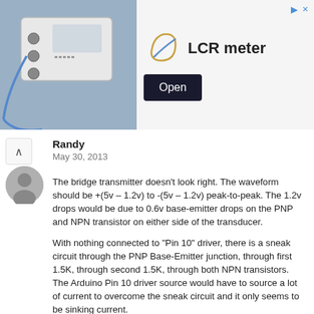[Figure (photo): Advertisement banner showing an LCR meter device photo on the left, logo in center, 'LCR meter' text and an 'Open' button on the right]
Randy
May 30, 2013
The bridge transmitter doesn't look right. The waveform should be +(5v – 1.2v) to -(5v – 1.2v) peak-to-peak. The 1.2v drops would be due to 0.6v base-emitter drops on the PNP and NPN transistor on either side of the transducer.
With nothing connected to "Pin 10" driver, there is a sneak circuit through the PNP Base-Emitter junction, through first 1.5K, through second 1.5K, through both NPN transistors. The Arduino Pin 10 driver source would have to source a lot of current to overcome the sneak circuit and it only seems to be sinking current.
Anyway, you are not getting +3.8v to -3.8v peak-to-peak across the transducer and would be better off with a single P-Channel MOSFET highside switch or a single N-channel lowside switch. If you want a higher signal output, use a 1:10 transformer to raise the transduce